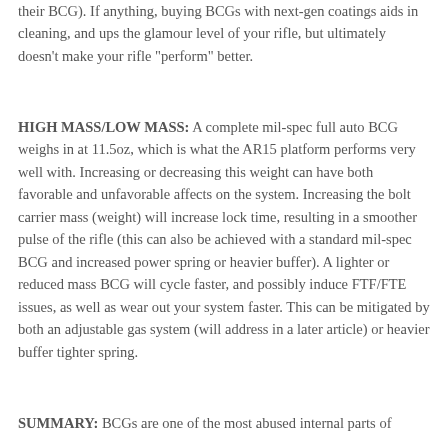their BCG). If anything, buying BCGs with next-gen coatings aids in cleaning, and ups the glamour level of your rifle, but ultimately doesn't make your rifle "perform" better.
HIGH MASS/LOW MASS: A complete mil-spec full auto BCG weighs in at 11.5oz, which is what the AR15 platform performs very well with. Increasing or decreasing this weight can have both favorable and unfavorable affects on the system. Increasing the bolt carrier mass (weight) will increase lock time, resulting in a smoother pulse of the rifle (this can also be achieved with a standard mil-spec BCG and increased power spring or heavier buffer). A lighter or reduced mass BCG will cycle faster, and possibly induce FTF/FTE issues, as well as wear out your system faster. This can be mitigated by both an adjustable gas system (will address in a later article) or heavier buffer tighter spring.
SUMMARY: BCGs are one of the most abused internal parts of